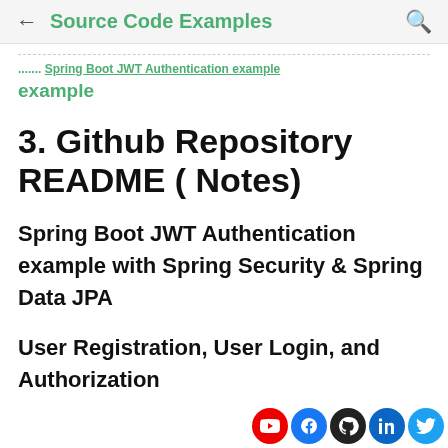← Source Code Examples 🔍
....... Spring Boot JWT Authentication example
3. Github Repository README ( Notes)
Spring Boot JWT Authentication example with Spring Security & Spring Data JPA
User Registration, User Login, and Authorization